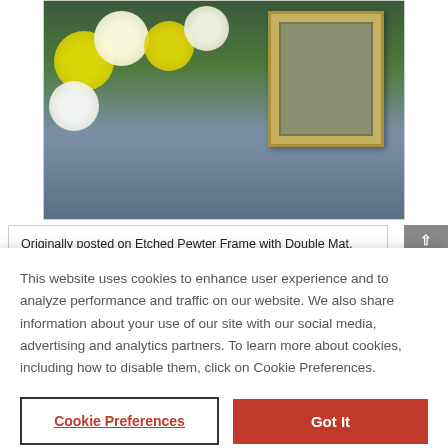[Figure (photo): Photo of a floral arrangement with yellow and white roses on a blue-gray draped table, with a framed picture in the background]
Originally posted on Etched Pewter Frame with Double Mat, Expressions™ by Studio Décor®
This website uses cookies to enhance user experience and to analyze performance and traffic on our website. We also share information about your use of our site with our social media, advertising and analytics partners. To learn more about cookies, including how to disable them, click on Cookie Preferences.
Cookie Preferences
Got It
So happy with the price and the quality.